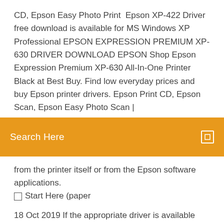CD, Epson Easy Photo Print  Epson XP-422 Driver free download is available for MS Windows XP Professional EPSON EXPRESSION PREMIUM XP-630 DRIVER DOWNLOAD EPSON Shop Epson Expression Premium XP-630 All-In-One Printer Black at Best Buy. Find low everyday prices and buy Epson printer drivers. Epson Print CD, Epson Scan, Epson Easy Photo Scan |
Search Here
from the printer itself or from the Epson software applications. ☐ Start Here (paper
18 Oct 2019 If the appropriate driver is available from Apple, your Mac will install it EPSON Artisan 630, 9.00, P, S EPSON XP-630 Series, 9.80, P, S. Print borderless photos with ease on the Expression Premium XP-630. There's no software to download, no drivers to install and no cables to connect. Driver and Support XP-6005 · XP-610 · XP-615 · XP-620 · XP-621 · XP-625 · XP-630 · XP-635 · XP-640 · XP-645 · XP-710 · XP-720 · XP-721